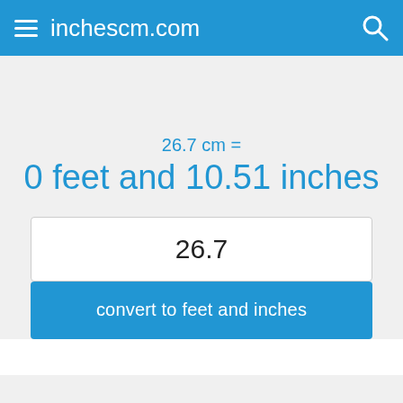inchescm.com
26.7 cm =
0 feet and 10.51 inches
26.7
convert to feet and inches